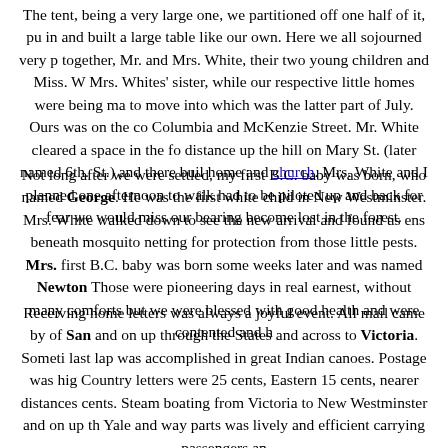The tent, being a very large one, we partitioned off one half of it, pu in and built a large table like our own. Here we all sojourned very p together, Mr. and Mrs. White, their two young children and Miss. W Mrs. Whites' sister, while our respective little homes were being ma to move into which was the latter part of July. Ours was on the co Columbia and McKenzie Street. Mr. White cleared a space in the fo distance up the hill on Mary St. (later named 6th. St.) and there buil home and church. Mrs. White and I planned one afternoon to walk had to be piloted up and back for fear we would miss our bearing become lost in the forest.
Not long after we were settled, my first B.C. baby was born, who named George. He was the first white child in New Westminster. Mrs. White walked down to see the new arrival and found us ens beneath mosquito netting for protection from those little pests. Mrs. first B.C. baby was born some weeks later and was named Newton Those were pioneering days in real earnest, without many comforts but we were blessed with good health and were contented and h
Receiving home letters was always a joyful event. All mail came by of San and on up through the States and across to Victoria. Someti last lap was accomplished in great Indian canoes. Postage was hig Country letters were 25 cents, Eastern 15 cents, nearer distances cents. Steam boating from Victoria to New Westminster and on up th Yale and way parts was lively and efficient carrying passengers an